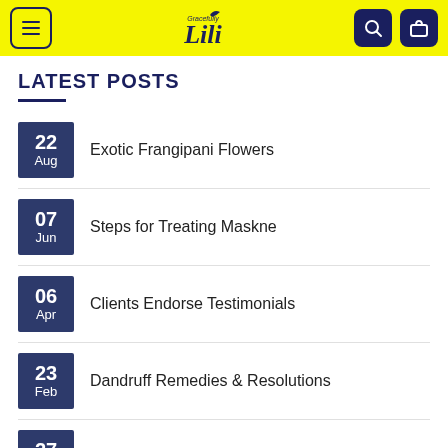Gracefully Lili – navigation header with menu, logo, search, and cart icons
LATEST POSTS
22 Aug – Exotic Frangipani Flowers
07 Jun – Steps for Treating Maskne
06 Apr – Clients Endorse Testimonials
23 Feb – Dandruff Remedies & Resolutions
27 Jan – Hair Loss Alopecia Areata
RECENT COMMENTS